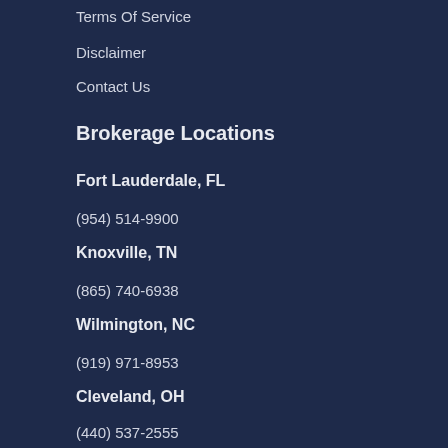Terms Of Service
Disclaimer
Contact Us
Brokerage Locations
Fort Lauderdale, FL
(954) 514-9900
Knoxville, TN
(865) 740-6938
Wilmington, NC
(919) 971-8953
Cleveland, OH
(440) 537-2555